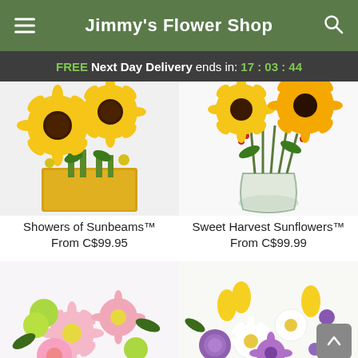Jimmy's Flower Shop
FREE Next Day Delivery ends in: 17:03:44
[Figure (photo): Sunflower bouquet in a yellow square box - Showers of Sunbeams product photo]
Showers of Sunbeams™
From C$99.95
[Figure (photo): Sunflower arrangement in a glass vase - Sweet Harvest Sunflowers product photo]
Sweet Harvest Sunflowers™
From C$99.99
[Figure (photo): Pink and green flower bouquet - partially visible at bottom left]
[Figure (photo): Yellow, purple, and white mixed flower arrangement - partially visible at bottom right]